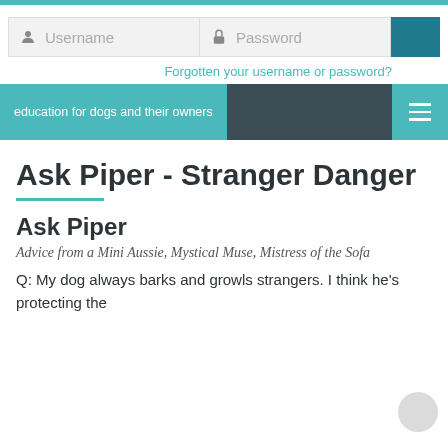education for dogs and their owners
Username   Password   Forgotten your username or password?
Ask Piper - Stranger Danger
Ask Piper
Advice from a Mini Aussie, Mystical Muse, Mistress of the Sofa
Q: My dog always barks and growls strangers. I think he's protecting the